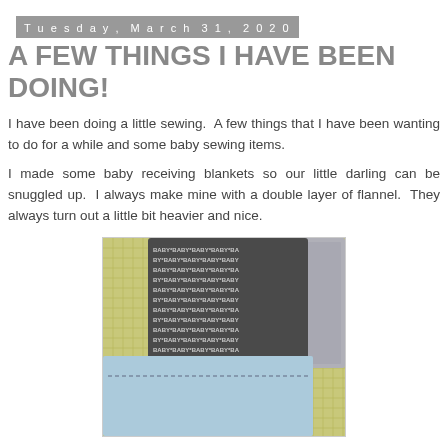Tuesday, March 31, 2020
A FEW THINGS I HAVE BEEN DOING!
I have been doing a little sewing.  A few things that I have been wanting to do for a while and some baby sewing items.
I made some baby receiving blankets so our little darling can be snuggled up.  I always make mine with a double layer of flannel.  They always turn out a little bit heavier and nice.
[Figure (photo): Baby flannel fabric pieces on a cutting mat: a dark gray fabric with repeating BABY text pattern and a light blue flannel piece with stitching detail, alongside a gray textured piece.]